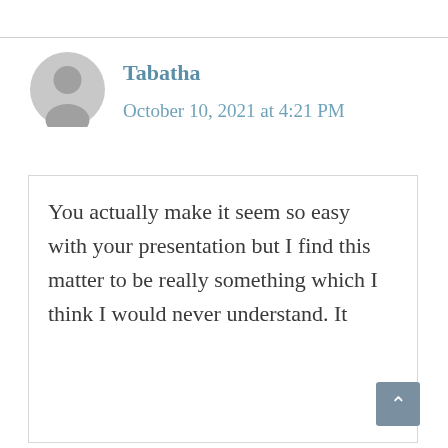Tabatha
October 10, 2021 at 4:21 PM
You actually make it seem so easy with your presentation but I find this matter to be really something which I think I would never understand. It